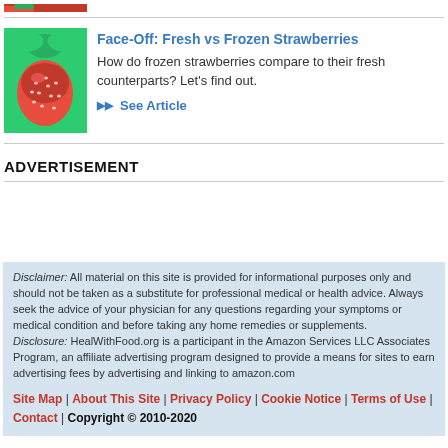[Figure (photo): Partial view of strawberry image at top of page (cropped)]
Face-Off: Fresh vs Frozen Strawberries
How do frozen strawberries compare to their fresh counterparts? Let's find out.
▶▶  See Article
ADVERTISEMENT
Disclaimer: All material on this site is provided for informational purposes only and should not be taken as a substitute for professional medical or health advice. Always seek the advice of your physician for any questions regarding your symptoms or medical condition and before taking any home remedies or supplements.
Disclosure: HealWithFood.org is a participant in the Amazon Services LLC Associates Program, an affiliate advertising program designed to provide a means for sites to earn advertising fees by advertising and linking to amazon.com
Site Map | About This Site | Privacy Policy | Cookie Notice | Terms of Use | Contact | Copyright © 2010-2020